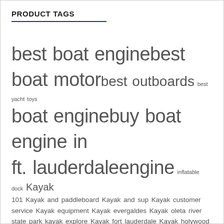PRODUCT TAGS
best boat engine best boat motor best outboards best yacht toys boat engine buy boat engine in ft. lauderdale engine inflatable dock Kayak 101 Kayak and paddleboard Kayak and sup Kayak customer service Kayak equipment Kayak evergaldes Kayak oleta river state park kayak explore Kayak fort lauderdale Kayak holywood fl Kayak how to choose Kayaking in miami Kayak in miami beach Kayak in the keys Kayak jupiter Kayak key biscayne Kayak keys Kayak miami beach Kayak or paddleboard Kayak south beach Kayak upgrades Kayak video Kayak vs sup Kayak website Kayak with pedals Kayak with rudder mercury mercury engine mercury engine outboard outboard motor outboard motor still